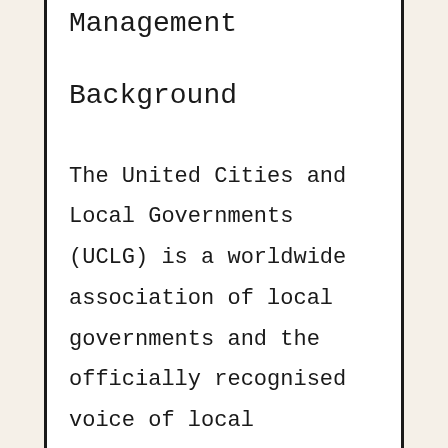Management
Background
The United Cities and Local Governments (UCLG) is a worldwide association of local governments and the officially recognised voice of local governments by the United Nations. UCLG was established